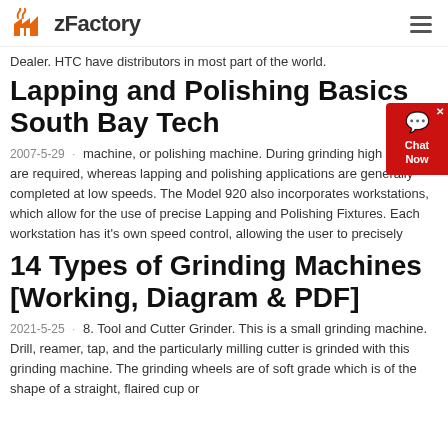zFactory
Dealer. HTC have distributors in most part of the world.
Lapping and Polishing Basics South Bay Tech
2007-5-29 · machine, or polishing machine. During grinding high speeds are required, whereas lapping and polishing applications are generally completed at low speeds. The Model 920 also incorporates workstations, which allow for the use of precise Lapping and Polishing Fixtures. Each workstation has it's own speed control, allowing the user to precisely
14 Types of Grinding Machines [Working, Diagram & PDF]
2021-5-25 · 8. Tool and Cutter Grinder. This is a small grinding machine. Drill, reamer, tap, and the particularly milling cutter is grinded with this grinding machine. The grinding wheels are of soft grade which is of the shape of a straight, flaired cup or